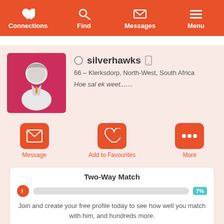Connections | Find | Messages | Menu
[Figure (screenshot): User profile avatar: male silhouette on pink/red background]
silverhawks
66 – Klerksdorp, North-West, South Africa
Hoe sal ek weet.......
Message | Add to Favourites | More
Two-Way Match
7%
Join and create your free profile today to see how well you match with him, and hundreds more.
Join now
Online: More than 6 months ago